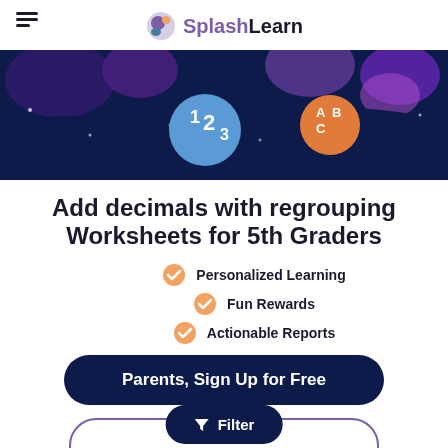SplashLearn
[Figure (illustration): Dark navy banner with colorful blob shapes (purple, blue, violet, orange) and circular icons: one blue circle with '123' and one orange circle with 'ABC', against a starry space background.]
Add decimals with regrouping Worksheets for 5th Graders
Personalized Learning
Fun Rewards
Actionable Reports
Parents, Sign Up for Free
Filter
Teachers, Use for Free